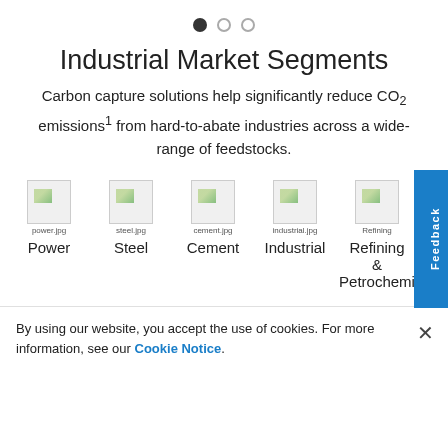[Figure (other): Three pagination dots: first filled black, second and third empty circles]
Industrial Market Segments
Carbon capture solutions help significantly reduce CO2 emissions1 from hard-to-abate industries across a wide-range of feedstocks.
[Figure (other): Five industry icons with filenames: power.jpg, steel.jpg, cement.jpg, industrial.jpg, Refining. Labels below: Power, Steel, Cement, Industrial, Refining & Petrochemi...]
By using our website, you accept the use of cookies. For more information, see our Cookie Notice.